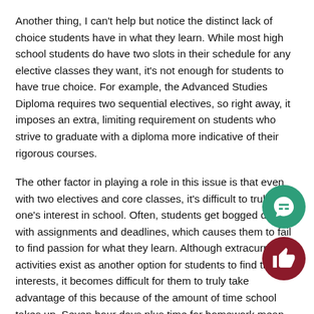Another thing, I can't help but notice the distinct lack of choice students have in what they learn. While most high school students do have two slots in their schedule for any elective classes they want, it's not enough for students to have true choice. For example, the Advanced Studies Diploma requires two sequential electives, so right away, it imposes an extra, limiting requirement on students who strive to graduate with a diploma more indicative of their rigorous courses.
The other factor in playing a role in this issue is that even with two electives and core classes, it's difficult to truly find one's interest in school. Often, students get bogged down with assignments and deadlines, which causes them to fail to find passion for what they learn. Although extracurricular activities exist as another option for students to find their interests, it becomes difficult for them to truly take advantage of this because of the amount of time school takes up. Seven hour days plus time for homework mean most students only have time to choose a few activities to dedicate themselves to, which limits their ability in finding what they are actually passionate about. This becomes even more difficult for students hoping to attend college as many colleges expect their students to come in with some leadership experience. This pressures high schoolers into choosing...